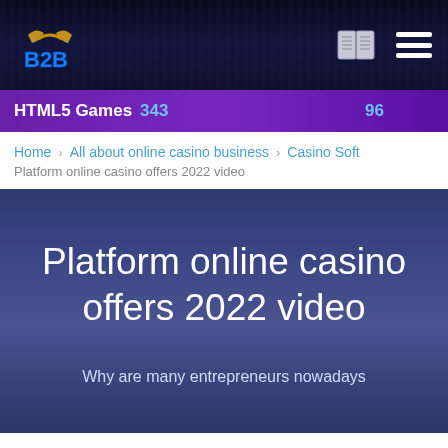B2B | HTML5 Games 343 | 96
Home   All about online casino business   Casino Soft
Platform online casino offers 2022 video
Platform online casino offers 2022 video
Why are many entrepreneurs nowadays